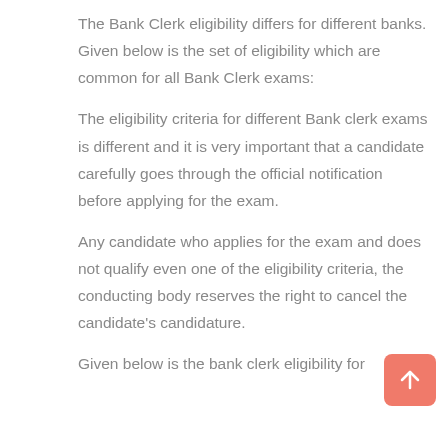The Bank Clerk eligibility differs for different banks. Given below is the set of eligibility which are common for all Bank Clerk exams:
The eligibility criteria for different Bank clerk exams is different and it is very important that a candidate carefully goes through the official notification before applying for the exam.
Any candidate who applies for the exam and does not qualify even one of the eligibility criteria, the conducting body reserves the right to cancel the candidate's candidature.
Given below is the bank clerk eligibility for